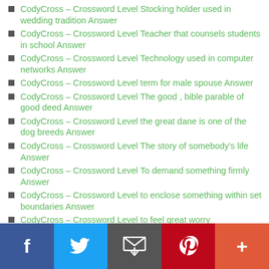CodyCross – Crossword Level Stocking holder used in wedding tradition Answer
CodyCross – Crossword Level Teacher that counsels students in school Answer
CodyCross – Crossword Level Technology used in computer networks Answer
CodyCross – Crossword Level term for male spouse Answer
CodyCross – Crossword Level The good , bible parable of good deed Answer
CodyCross – Crossword Level the great dane is one of the dog breeds Answer
CodyCross – Crossword Level The story of somebody's life Answer
CodyCross – Crossword Level To demand something firmly Answer
CodyCross – Crossword Level to enclose something within set boundaries Answer
CodyCross – Crossword Level to feel great worry